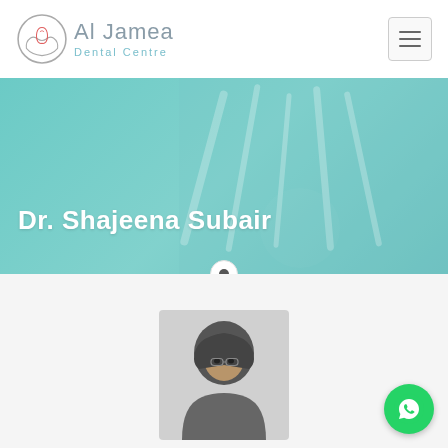Al Jamea Dental Centre
Dr. Shajeena Subair
[Figure (photo): Doctor profile photo – woman wearing hijab, headshot]
[Figure (logo): WhatsApp contact button (green circle with phone icon)]